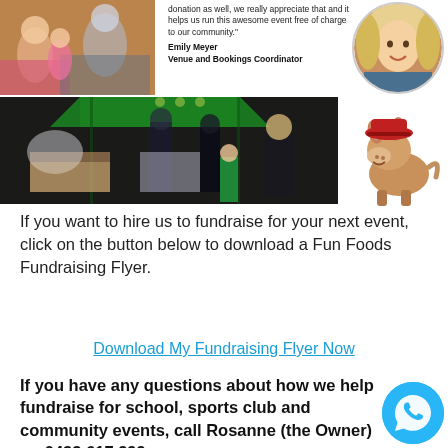[Figure (photo): Photo collage at top: children at event (left), quote text block (center-top), circular portrait of Emily Meyer (upper right), large nighttime market/stall event photo (bottom left of collage), cartoon donkey mascot (right)]
donation as well, we really appreciate that and it helps us run this awesome event free of charge to our community."
Emily Meyer
Venue and Bookings Coordinator
If you want to hire us to fundraise for your next event, click on the button below to download a Fun Foods Fundraising Flyer.
Download My Fundraising Flyer Now
If you have any questions about how we help fundraise for school, sports club and community events, call Rosanne (the Owner) on 0433 617 299